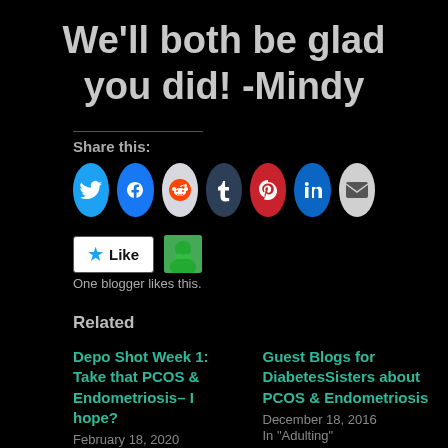We'll both be glad you did! -Mindy
Share this:
[Figure (infographic): Social share buttons: Twitter (blue), Facebook (blue), Reddit (light grey), Tumblr (dark navy), Pinterest (red), LinkedIn (blue), Email (grey)]
[Figure (infographic): Like button with star icon and a blogger avatar thumbnail. Text: One blogger likes this.]
One blogger likes this.
Related
Depo Shot Week 1: Take that PCOS & Endometriosis– I hope?
February 18, 2020
In "Diabetes"
Guest Blogs for DiabetesSisters about PCOS & Endometriosis
December 18, 2016
In "Adulting"